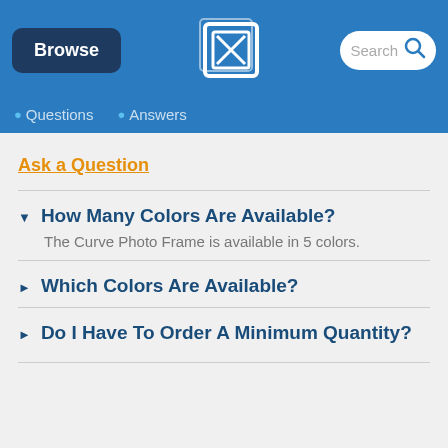[Figure (screenshot): Website header with Browse button, logo, and Search bar on blue background]
6 Questions   6 Answers
Ask a Question
How Many Colors Are Available?
The Curve Photo Frame is available in 5 colors.
Which Colors Are Available?
Do I Have To Order A Minimum Quantity?